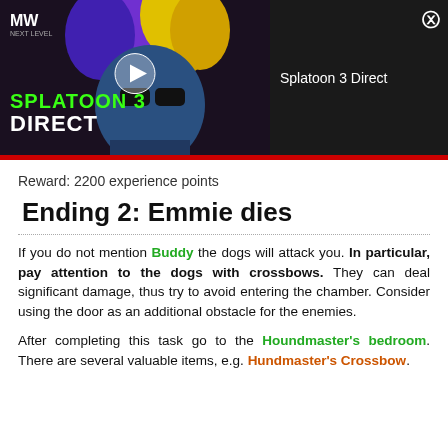[Figure (screenshot): Video thumbnail showing Splatoon 3 Direct with a squid character wearing colorful ink-splattered hair, overlaid with SPLATOON 3 DIRECT text in green and white, a play button, and MW Next Level logo. Right side shows dark panel with title 'Splatoon 3 Direct' and close button.]
Reward: 2200 experience points
Ending 2: Emmie dies
If you do not mention Buddy the dogs will attack you. In particular, pay attention to the dogs with crossbows. They can deal significant damage, thus try to avoid entering the chamber. Consider using the door as an additional obstacle for the enemies.
After completing this task go to the Houndmaster's bedroom. There are several valuable items, e.g. Hundmaster's Crossbow.